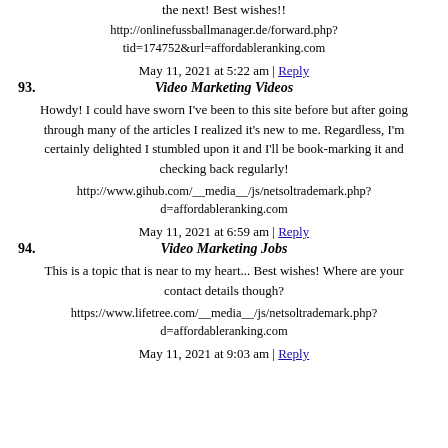the next! Best wishes!!
http://onlinefussballmanager.de/forward.php?tid=174752&url=affordableranking.com
May 11, 2021 at 5:22 am | Reply
93. Video Marketing Videos
Howdy! I could have sworn I’ve been to this site before but after going through many of the articles I realized it’s new to me. Regardless, I’m certainly delighted I stumbled upon it and I’ll be book-marking it and checking back regularly!
http://www.gihub.com/__media__/js/netsoltrademark.php?d=affordableranking.com
May 11, 2021 at 6:59 am | Reply
94. Video Marketing Jobs
This is a topic that is near to my heart... Best wishes! Where are your contact details though?
https://www.lifetree.com/__media__/js/netsoltrademark.php?d=affordableranking.com
May 11, 2021 at 9:03 am | Reply